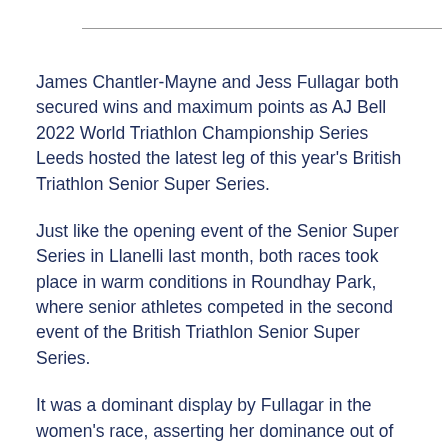James Chantler-Mayne and Jess Fullagar both secured wins and maximum points as AJ Bell 2022 World Triathlon Championship Series Leeds hosted the latest leg of this year's British Triathlon Senior Super Series.
Just like the opening event of the Senior Super Series in Llanelli last month, both races took place in warm conditions in Roundhay Park, where senior athletes competed in the second event of the British Triathlon Senior Super Series.
It was a dominant display by Fullagar in the women's race, asserting her dominance out of transition one to lead onto the bike. It was on two wheels where Fullagar would pull away from the rest of the field, putting a significant time difference between her and the chasing group behind...